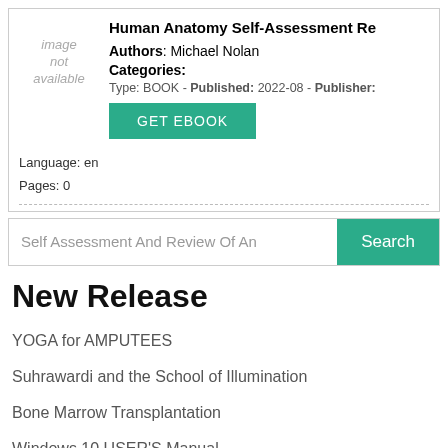Human Anatomy Self-Assessment Re
Authors: Michael Nolan
Categories:
Type: BOOK - Published: 2022-08 - Publisher:
image not available
Language: en
Pages: 0
GET EBOOK
Self Assessment And Review Of An
Search
New Release
YOGA for AMPUTEES
Suhrawardi and the School of Illumination
Bone Marrow Transplantation
Windows 10 USER'S Manual